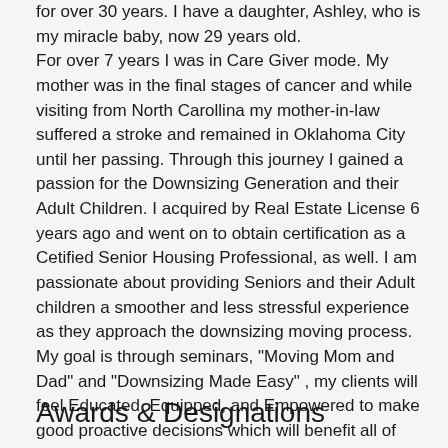for over 30 years. I have a daughter, Ashley, who is my miracle baby, now 29 years old. For over 7 years I was in Care Giver mode. My mother was in the final stages of cancer and while visiting from North Carollina my mother-in-law suffered a stroke and remained in Oklahoma City until her passing. Through this journey I gained a passion for the Downsizing Generation and their Adult Children. I acquired by Real Estate License 6 years ago and went on to obtain certification as a Cetified Senior Housing Professional, as well. I am passionate about providing Seniors and their Adult children a smoother and less stressful experience as they approach the downsizing moving process. My goal is through seminars, "Moving Mom and Dad" and "Downsizing Made Easy" , my clients will feel Educated, Equipped, and Empowered to make good proactive decisions which will benefit all of their family.
Awards & Designations